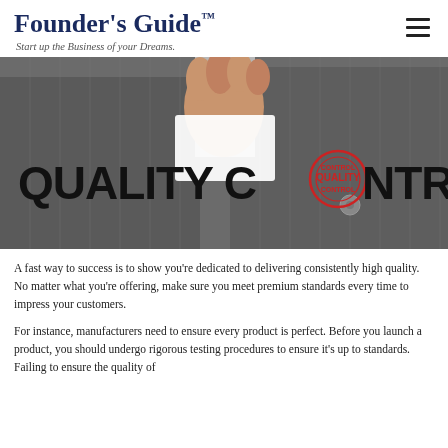Founder's Guide™
Start up the Business of your Dreams.
[Figure (photo): A person in a dark pinstripe suit holding a card in front of them. Large bold text overlay reads 'QUALITY CONTROL' with a circular red quality control stamp logo replacing the letter 'O' in 'CONTROL'.]
A fast way to success is to show you're dedicated to delivering consistently high quality. No matter what you're offering, make sure you meet premium standards every time to impress your customers.
For instance, manufacturers need to ensure every product is perfect. Before you launch a product, you should undergo rigorous testing procedures to ensure it's up to standards. Failing to ensure the quality of your products can damage your reputation. Every customer that receives a faulty product is a potential lost customer.